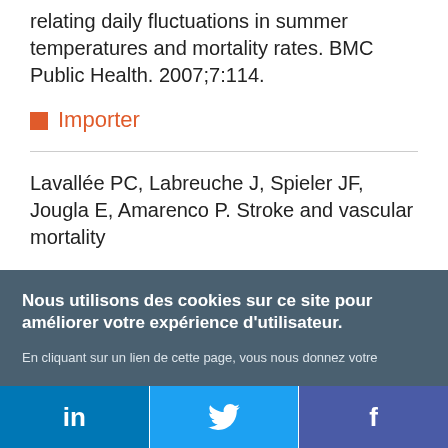relating daily fluctuations in summer temperatures and mortality rates. BMC Public Health. 2007;7:114.
Importer
Lavallée PC, Labreuche J, Spieler JF, Jougla E, Amarenco P. Stroke and vascular mortality
Nous utilisons des cookies sur ce site pour améliorer votre expérience d'utilisateur.
En cliquant sur un lien de cette page, vous nous donnez votre consentement de définir des cookies.
Oui, je suis d'accord | Plus d'infos